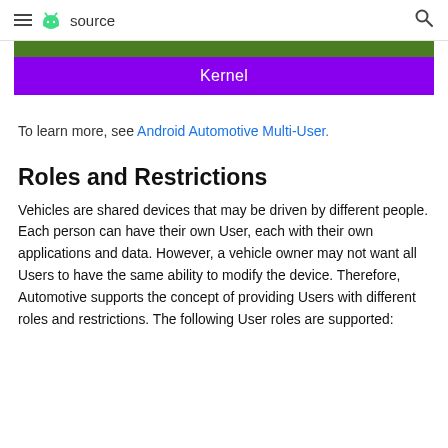≡ android source 🔍
[Figure (infographic): Diagram showing a green bar at top and a purple/violet 'Kernel' labeled bar below it, part of an Android architecture stack diagram.]
To learn more, see Android Automotive Multi-User.
Roles and Restrictions
Vehicles are shared devices that may be driven by different people. Each person can have their own User, each with their own applications and data. However, a vehicle owner may not want all Users to have the same ability to modify the device. Therefore, Automotive supports the concept of providing Users with different roles and restrictions. The following User roles are supported: